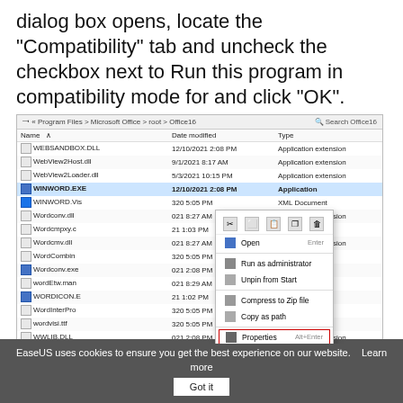dialog box opens, locate the "Compatibility" tab and uncheck the checkbox next to Run this program in compatibility mode for and click "OK".
[Figure (screenshot): Windows File Explorer showing Office16 directory with a right-click context menu on WINWORD.EXE. The context menu shows options including Open, Run as administrator, Unpin from Start, Compress to Zip file, Copy as path, and Properties (highlighted with red border). The file list includes WEBSANDBOX.DLL, WebView2Host.dll, WebView2Loader.dll, WINWORD.EXE (highlighted), WINWORD.Vis, Wordconv.dll, Wordcmpxy.c, Wordcmv.dll, WordCombin, Wordconv.exe, wordEtw.man, WORDICON.E, WordInterPro, wordvisi.ttf, WWLIB.DLL, XLCALL32.DLL]
EaseUS uses cookies to ensure you get the best experience on our website.    Learn more      Got it